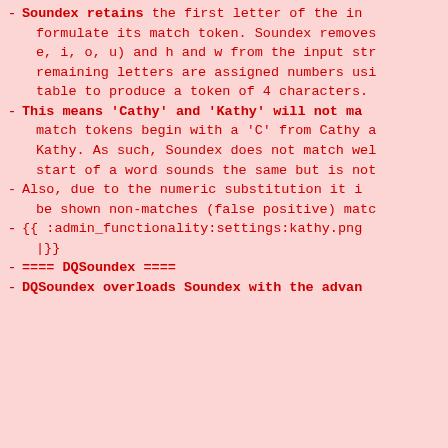-
-Soundex retains the first letter of the in formulate its match token. Soundex removes e, i, o, u) and h and w from the input str remaining letters are assigned numbers usi table to produce a token of 4 characters.
-
-This means ‘Cathy’ and ‘Kathy’ will not ma match tokens begin with a ‘C’ from Cathy a Kathy. As such, Soundex does not match wel start of a word sounds the same but is not
-Also, due to the numeric substitution it i be shown non-matches (false positive) matc
-
-{{ :admin_functionality:settings:kathy.png |}}
-
-==== DQSoundex ====
-
-DQSoundex overloads Soundex with the advan